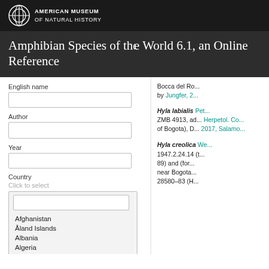American Museum of Natural History
Amphibian Species of the World 6.1, an Online Reference
English name [input field] Author [input field] Year [input field] Country Click to select [dropdown with countries: Afghanistan, Åland Islands, Albania, Algeria, Andorra, Angola, Anguilla]
Bocca del Ro... by Jungfer, 2...

Hyla labialis Pet...
ZMB 4913, ad... Herpetol. Co... of Bogota), D... 2017, Salamo...

Hyla creolica We...
1947.2.24.14 (t... 89) and (for... near Bogota... 28580–83 (H...